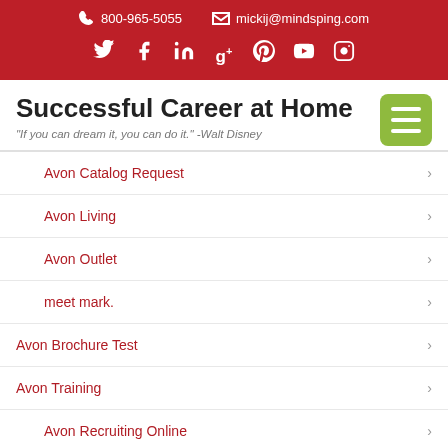800-965-5055  mickij@mindsping.com
Successful Career at Home
"If you can dream it, you can do it." -Walt Disney
Avon Catalog Request
Avon Living
Avon Outlet
meet mark.
Avon Brochure Test
Avon Training
Avon Recruiting Online